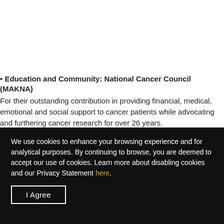• Education and Community: National Cancer Council (MAKNA) For their outstanding contribution in providing financial, medical, emotional and social support to cancer patients while advocating and furthering cancer research for over 26 years.
We use cookies to enhance your browsing experience and for analytical purposes. By continuing to browse, you are deemed to accept our use of cookies. Learn more about disabling cookies and our Privacy Statement here.